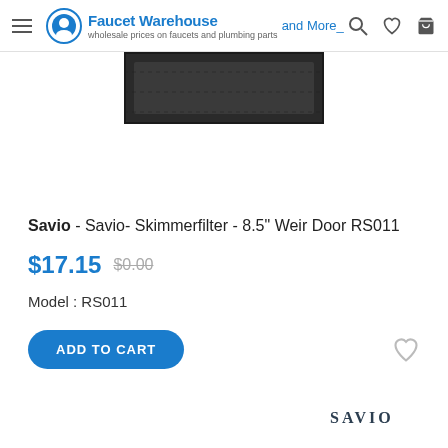Faucet Warehouse and More
[Figure (photo): Dark rectangular product image showing a flat rubber/plastic weir door component against a black background]
Savio - Savio- Skimmerfilter - 8.5" Weir Door RS011
$17.15  $0.00
Model : RS011
ADD TO CART
[Figure (logo): Savio brand logo in dark stylized text at bottom right]